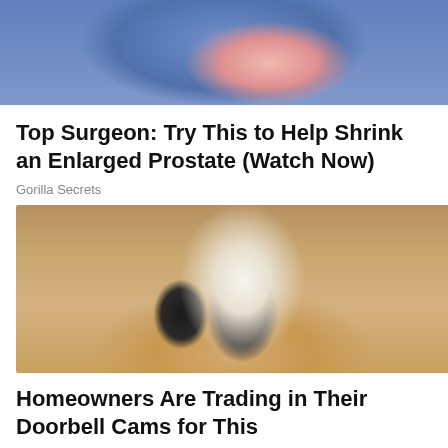[Figure (illustration): Partial illustration of a person lying down, showing torso in pink/red clothing against a blue background — top portion of an advertisement image]
Top Surgeon: Try This to Help Shrink an Enlarged Prostate (Watch Now)
Gorilla Secrets
[Figure (photo): Sepia-toned photograph of a hand reaching up to install or adjust a light bulb in a black outdoor wall lantern mounted on a textured stucco wall]
Homeowners Are Trading in Their Doorbell Cams for This